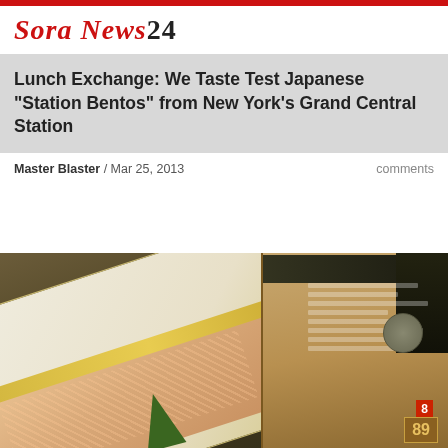SoraNews24
Lunch Exchange: We Taste Test Japanese “Station Bentos” from New York’s Grand Central Station
Master Blaster / Mar 25, 2013
comments
[Figure (photo): Photo of an open Japanese bento box with rice, shrimp/crab, and a green leaf garnish, placed on a magazine or newspaper]